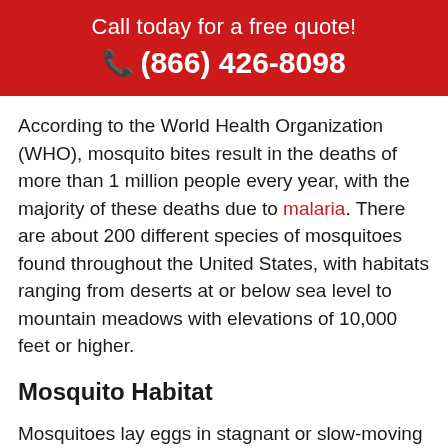Call today for a free quote!
☎ (866) 426-8098
According to the World Health Organization (WHO), mosquito bites result in the deaths of more than 1 million people every year, with the majority of these deaths due to malaria. There are about 200 different species of mosquitoes found throughout the United States, with habitats ranging from deserts at or below sea level to mountain meadows with elevations of 10,000 feet or higher.
Mosquito Habitat
Mosquitoes lay eggs in stagnant or slow-moving water, so they are commonly found around marshes and lakes. However, needing only a half-inch of standing water to breed, mosquitoes are often found around homes, in kiddie pools, metal buckets, flower